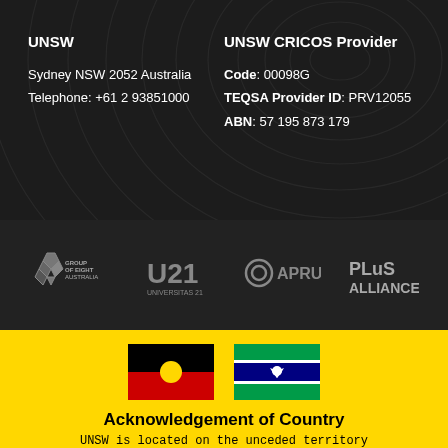UNSW
Sydney NSW 2052 Australia
Telephone: +61 2 93851000
UNSW CRICOS Provider
Code: 00098G
TEQSA Provider ID: PRV12055
ABN: 57 195 873 179
[Figure (logo): Group of Eight Australia logo, U21 Universitas 21 logo, APRU logo, PLuS Alliance logo]
[Figure (illustration): Aboriginal flag and Torres Strait Islander flag]
Acknowledgement of Country
UNSW is located on the unceded territory